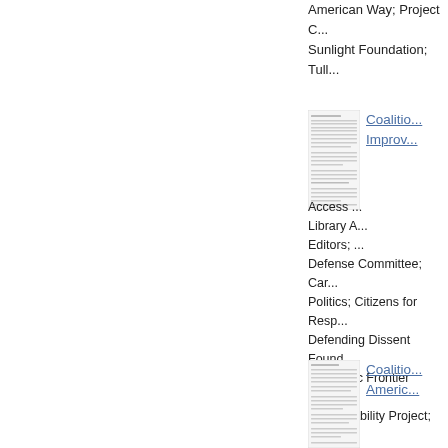American Way; Project C... Sunlight Foundation; Tull...
[Figure (other): Thumbnail image of a document page - first entry]
Coalition Improv... Access ... Library A... Editors; ... Defense Committee; Car... Politics; Citizens for Resp... Defending Dissent Found... Electronic Frontier Found... Accountability Project; Th... Transgender Equality; Na... Counselors; Niskanen Ce... People for the American... Freedom of the Press; Re... Professional Journalists;... Free Speech at Syracuse...
[Figure (other): Thumbnail image of a document page - second entry]
Coalitio... Americ...